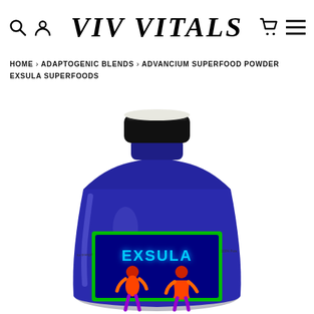VIV VITALS
HOME > ADAPTOGENIC BLENDS > ADVANCIUM SUPERFOOD POWDER EXSULA SUPERFOODS
[Figure (photo): Exsula Superfoods product bottle - large cobalt blue jar with black cap and a green-bordered label showing 'EXSULA' in blue text with two human silhouettes in thermal/heat-map colors (red, orange, purple) representing male and female figures.]